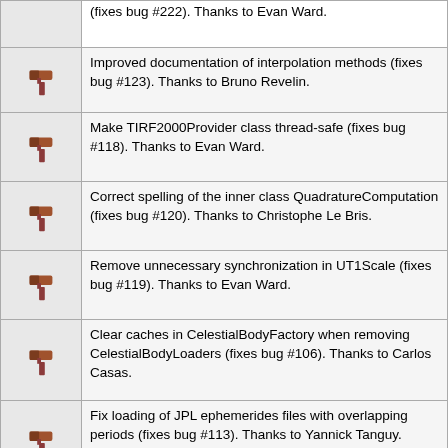(fixes bug #222). Thanks to Evan Ward.
Improved documentation of interpolation methods (fixes bug #123). Thanks to Bruno Revelin.
Make TIRF2000Provider class thread-safe (fixes bug #118). Thanks to Evan Ward.
Correct spelling of the inner class QuadratureComputation (fixes bug #120). Thanks to Christophe Le Bris.
Remove unnecessary synchronization in UT1Scale (fixes bug #119). Thanks to Evan Ward.
Clear caches in CelestialBodyFactory when removing CelestialBodyLoaders (fixes bug #106). Thanks to Carlos Casas.
Fix loading of JPL ephemerides files with overlapping periods (fixes bug #113). Thanks to Yannick Tanguy.
Prevent initialization exception in UTCScale in case no user-defined offsets are provided. (fixes bug #111). Thanks to Simon Billemont.
Improved performance by caching EME2000 frame in AbstractCelestialBody (fixes bug...